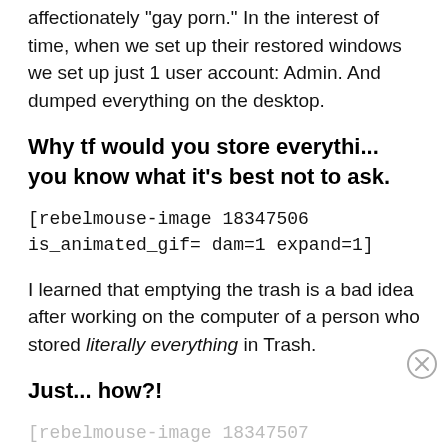affectionately "gay porn." In the interest of time, when we set up their restored windows we set up just 1 user account: Admin. And dumped everything on the desktop.
Why tf would you store everythi... you know what it's best not to ask.
[rebelmouse-image 18347506 is_animated_gif= dam=1 expand=1]
I learned that emptying the trash is a bad idea after working on the computer of a person who stored literally everything in Trash.
Just... how?!
[rebelmouse-image 18347507 is_animated_gif= dam=1 expand=1]